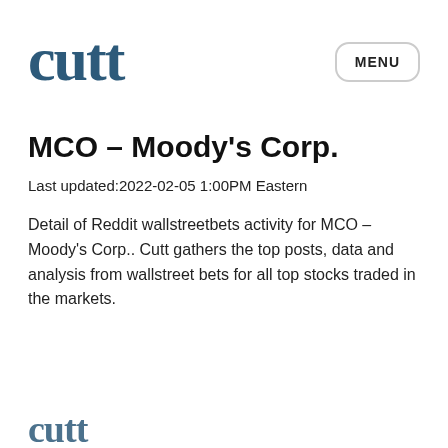cutt
MCO – Moody's Corp.
Last updated:2022-02-05 1:00PM Eastern
Detail of Reddit wallstreetbets activity for MCO – Moody's Corp.. Cutt gathers the top posts, data and analysis from wallstreet bets for all top stocks traded in the markets.